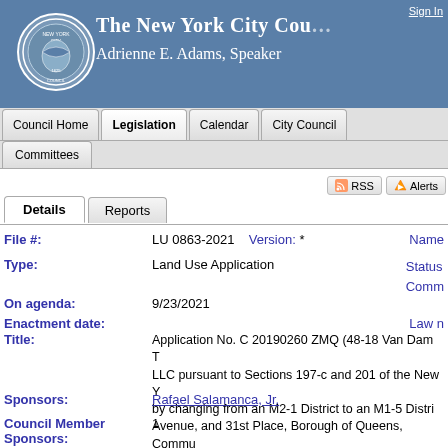The New York City Council — Adrienne E. Adams, Speaker
Sign In
Council Home | Legislation | Calendar | City Council | Committees
RSS | Alerts
Details | Reports
File #: LU 0863-2021   Version: *   Name:
Type: Land Use Application   Status:   Comm:
On agenda: 9/23/2021
Enactment date:   Law n:
Title: Application No. C 20190260 ZMQ (48-18 Van Dam T LLC pursuant to Sections 197-c and 201 of the New Y by changing from an M2-1 District to an M1-5 Distri Avenue, and 31st Place, Borough of Queens, Commu
Sponsors: Rafael Salamanca, Jr.
Council Member Sponsors: 1